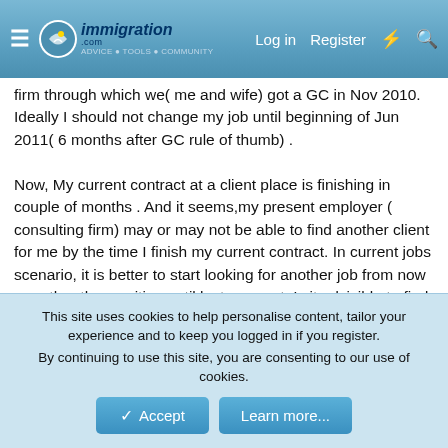immigration forum header with logo, Log in, Register navigation
firm through which we( me and wife) got a GC in Nov 2010. Ideally I should not change my job until beginning of Jun 2011( 6 months after GC rule of thumb) .

Now, My current contract at a client place is finishing in couple of months . And it seems,my present employer ( consulting firm) may or may not be able to find another client for me by the time I finish my current contract. In current jobs scenario, it is better to start looking for another job from now on rather than waiting until last moment. Is it advisible to find a new job because I forsee that my current employer may not have a job for me after 2 months? Or should I wait until my current employer finds me a new contract! The risk is, I may have to stay out of job ( means without pay) during the gap between contracts!
Secondly, is it only safe to switch to a new employer only if the
This site uses cookies to help personalise content, tailor your experience and to keep you logged in if you register.
By continuing to use this site, you are consenting to our use of cookies.